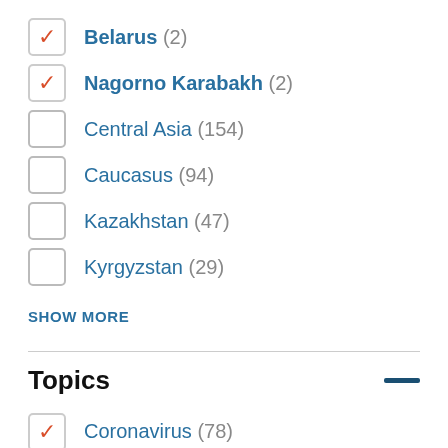Belarus (2)
Nagorno Karabakh (2)
Central Asia (154)
Caucasus (94)
Kazakhstan (47)
Kyrgyzstan (29)
SHOW MORE
Topics
Coronavirus (78)
Society (52)
Economy (47)